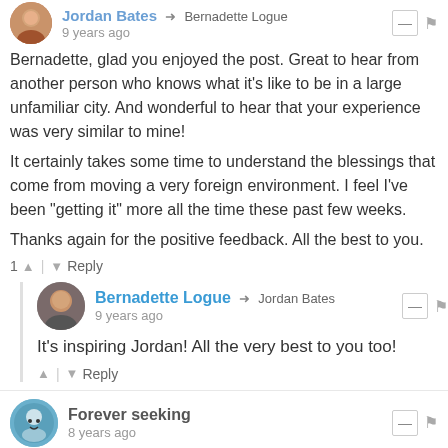Jordan Bates → Bernadette Logue
9 years ago
Bernadette, glad you enjoyed the post. Great to hear from another person who knows what it's like to be in a large unfamiliar city. And wonderful to hear that your experience was very similar to mine!

It certainly takes some time to understand the blessings that come from moving a very foreign environment. I feel I've been "getting it" more all the time these past few weeks.

Thanks again for the positive feedback. All the best to you.
1 ^ | v Reply
Bernadette Logue → Jordan Bates
9 years ago
It's inspiring Jordan! All the very best to you too!
^ | v Reply
Forever seeking
8 years ago
I was looking for 'What's missing in my life' and amongst all the others,this link caught my attention first.My take away from your